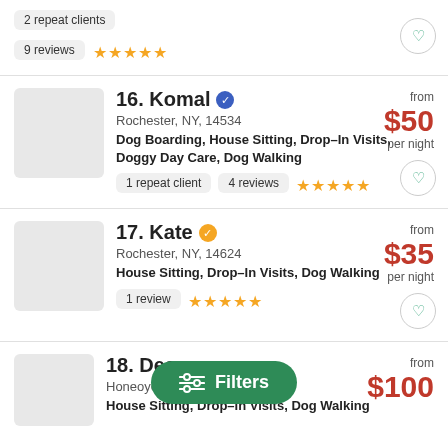2 repeat clients
9 reviews ★★★★★
16. Komal — Rochester, NY, 14534 — Dog Boarding, House Sitting, Drop-In Visits, Doggy Day Care, Dog Walking — from $50 per night — 1 repeat client — 4 reviews ★★★★★
17. Kate — Rochester, NY, 14624 — House Sitting, Drop-In Visits, Dog Walking — from $35 per night — 1 review ★★★★★
18. Des[...] — Honeoye Falls, NY, 14472 — House Sitting, Drop-In Visits, Dog Walking — from $100